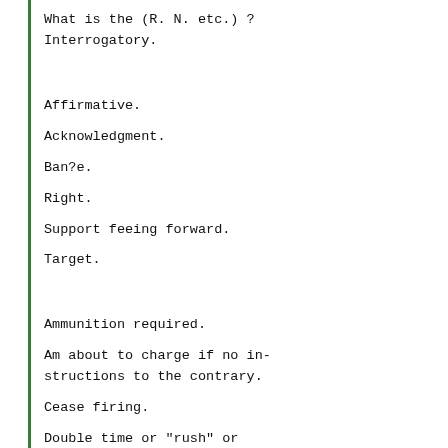What is the (R. N. etc.) ? Interrogatory.
Affirmative.
Acknowledgment.
Ban?e.
Right.
Support feeing forward.
Target.
Ammunition required.
Am about to charge if no instructions to the contrary.
Cease firing.
Double time or "rush" or hurry.
Commence firing.